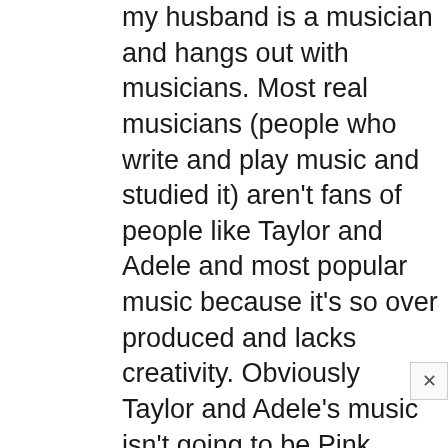my husband is a musician and hangs out with musicians. Most real musicians (people who write and play music and studied it) aren't fans of people like Taylor and Adele and most popular music because it's so over produced and lacks creativity. Obviously Taylor and Adele's music isn't going to be Pink Floyd or Velvet Underground when it comes to innovation and creativity. I like Taylor and thinks she's talented but I'm also not a musician and know she is commercially marketed well. Honestly Adele's songs all sound the same to me on every album but she is obviously appealing to a lot of people. Todays music is pretty lacking in general, especially to people that study music and know how empty it is. This guy sounds like a jerk but the industry sucks and has lost all authenticity for commercial success and I think people know that and take it out on the most